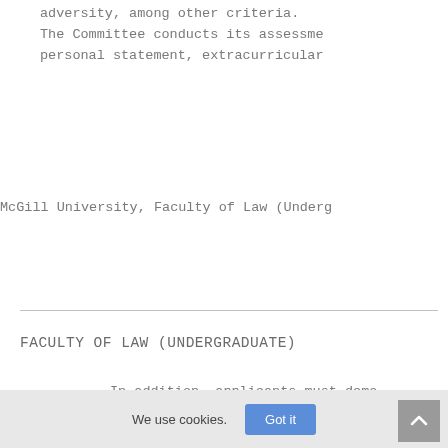adversity, among other criteria.
The Committee conducts its assessme
personal statement, extracurricular
McGill University, Faculty of Law (Underg
FACULTY OF LAW (UNDERGRADUATE)
In addition, applicants must demo
Requirements).
The Admissions Committee seeks to
of career aspirations, background
The Faculty of Law is committed t
non-conforming and trans people,
We use cookies.